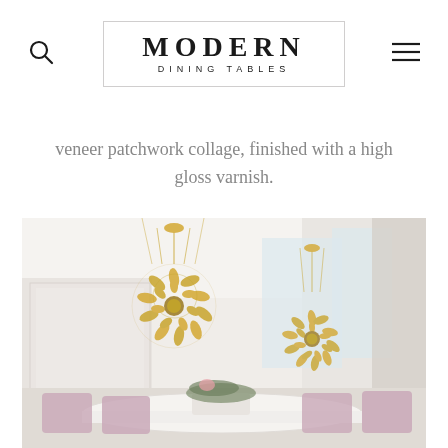MODERN DINING TABLES
veneer patchwork collage, finished with a high gloss varnish.
[Figure (photo): Elegant dining room interior with two large spherical gold chandeliers with leaf-like details hanging from the ceiling. A white marble dining table is visible below with pink/mauve upholstered chairs, a floral centerpiece, and a large abstract artwork on the left wall. The room has large windows with light drapery.]